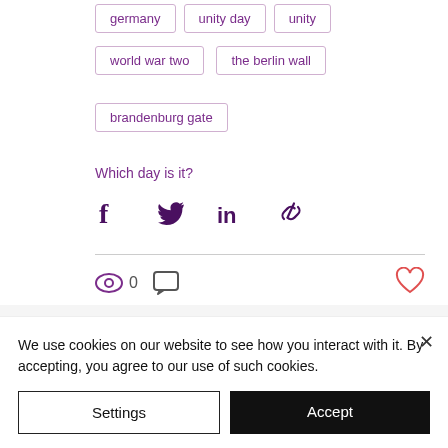germany | unity day | unity
world war two | the berlin wall
brandenburg gate
Which day is it?
[Figure (infographic): Social sharing icons: Facebook, Twitter, LinkedIn, link/chain icon]
[Figure (infographic): View count eye icon with 0, comment bubble icon, heart/like icon]
[Figure (infographic): Pagination dots: two purple circles]
We use cookies on our website to see how you interact with it. By accepting, you agree to our use of such cookies.
Settings
Accept